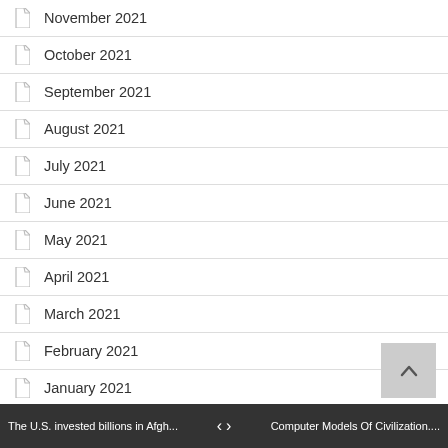November 2021
October 2021
September 2021
August 2021
July 2021
June 2021
May 2021
April 2021
March 2021
February 2021
January 2021
December 2020
November 2020
October 2020
The U.S. invested billions in Afgh... < > Computer Models Of Civilization....